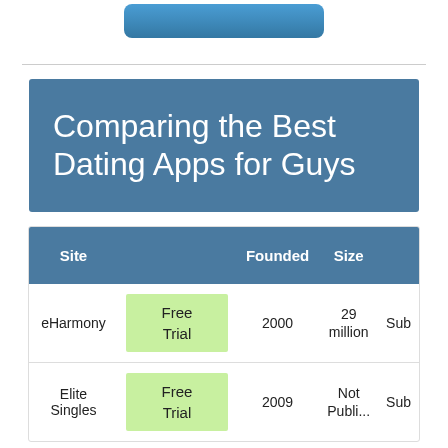[Figure (other): Blue rounded button/image partially visible at top of page]
Comparing the Best Dating Apps for Guys
| Site |  | Founded | Size |  |
| --- | --- | --- | --- | --- |
| eHarmony | Free Trial | 2000 | 29 million | Sub... |
| Elite Singles | Free Trial | 2009 | Not Public... | Sub... |